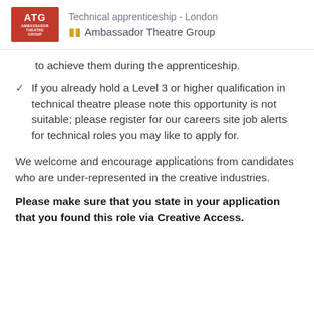Technical apprenticeship - London | Ambassador Theatre Group
to achieve them during the apprenticeship.
If you already hold a Level 3 or higher qualification in technical theatre please note this opportunity is not suitable; please register for our careers site job alerts for technical roles you may like to apply for.
We welcome and encourage applications from candidates who are under-represented in the creative industries.
Please make sure that you state in your application that you found this role via Creative Access.